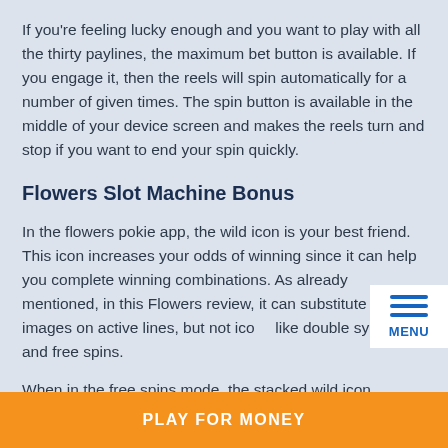If you're feeling lucky enough and you want to play with all the thirty paylines, the maximum bet button is available. If you engage it, then the reels will spin automatically for a number of given times. The spin button is available in the middle of your device screen and makes the reels turn and stop if you want to end your spin quickly.
Flowers Slot Machine Bonus
In the flowers pokie app, the wild icon is your best friend. This icon increases your odds of winning since it can help you complete winning combinations. As already mentioned, in this Flowers review, it can substitute other images on active lines, but not icons like double symbols and free spins.
When in the free spins mode, the stacked wild icon...
PLAY FOR MONEY